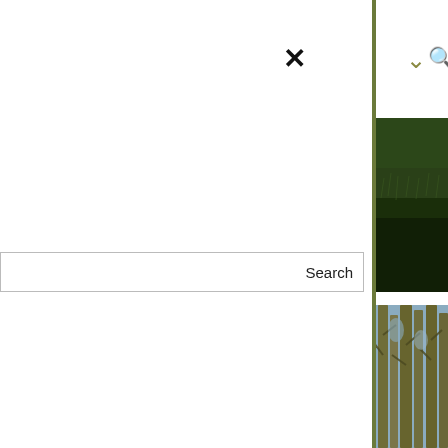✕
Search
▼
: on The Hazel
Maclaine's skull – a
d
[Figure (photo): Aerial or ground-level view of dark green grass field]
[Figure (photo): Forest of bare trees with mossy trunks against a blue sky, photographed from below looking upward]